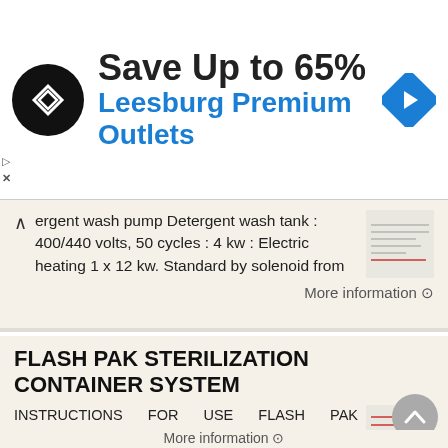[Figure (screenshot): Advertisement banner for Leesburg Premium Outlets showing logo, 'Save Up to 65%' text, and navigation icon]
ergent wash pump Detergent wash tank : 400/440 volts, 50 cycles : 4 kw : Electric heating 1 x 12 kw. Standard by solenoid from
More information →
FLASH PAK STERILIZATION CONTAINER SYSTEM
INSTRUCTIONS FOR USE FLASH PAK STERILIZATION CONTAINER SYSTEM Description The Flash Pak Sterilization Container System consists of a family of rigid reusable containers that provide an effective sterilization
More information →